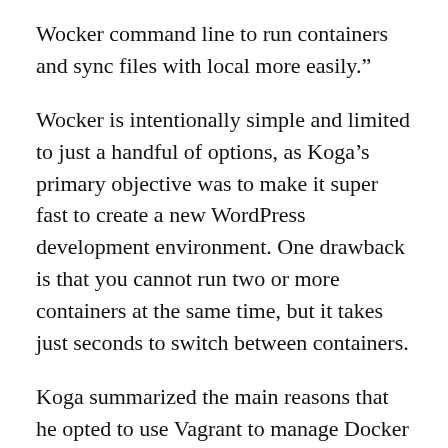Wocker command line to run containers and sync files with local more easily.”
Wocker is intentionally simple and limited to just a handful of options, as Koga’s primary objective was to make it super fast to create a new WordPress development environment. One drawback is that you cannot run two or more containers at the same time, but it takes just seconds to switch between containers.
Koga summarized the main reasons that he opted to use Vagrant to manage Docker deployments:
1. I could write some provision scripts in the Vagrantfile, so users only have to do `$ vagrant